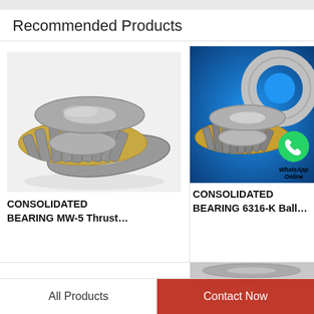Recommended Products
[Figure (photo): CONSOLIDATED BEARING MW-5 Thrust bearing - two thrust washers shown, one flat disc and one with roller cage, gold and silver metallic finish on white background]
CONSOLIDATED BEARING MW-5 Thrust...
[Figure (photo): CONSOLIDATED BEARING 6316-K Ball bearing - two bearing rings shown on blue background with WhatsApp Online overlay icon]
CONSOLIDATED BEARING 6316-K Ball...
[Figure (photo): Partial view of a third bearing product on gray background]
All Products  Contact Now